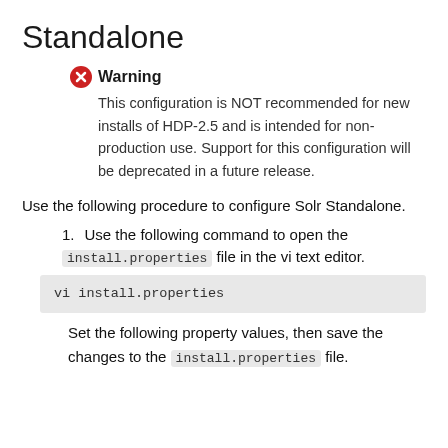Standalone
Warning
This configuration is NOT recommended for new installs of HDP-2.5 and is intended for non-production use. Support for this configuration will be deprecated in a future release.
Use the following procedure to configure Solr Standalone.
1. Use the following command to open the install.properties file in the vi text editor.
vi install.properties
Set the following property values, then save the changes to the install.properties file.